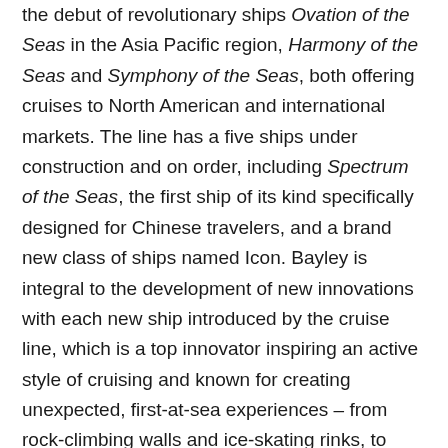the debut of revolutionary ships Ovation of the Seas in the Asia Pacific region, Harmony of the Seas and Symphony of the Seas, both offering cruises to North American and international markets. The line has a five ships under construction and on order, including Spectrum of the Seas, the first ship of its kind specifically designed for Chinese travelers, and a brand new class of ships named Icon. Bayley is integral to the development of new innovations with each new ship introduced by the cruise line, which is a top innovator inspiring an active style of cruising and known for creating unexpected, first-at-sea experiences – from rock-climbing walls and ice-skating rinks, to surfing, skydiving and architectural concepts on its extraordinary ships.
Bayley began his career with Royal Caribbean in 1981 as